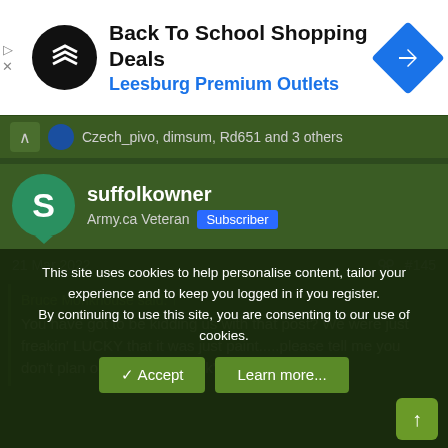[Figure (other): Advertisement banner: Back To School Shopping Deals at Leesburg Premium Outlets with logo and navigation arrow icon]
Czech_pivo, dimsum, Rd651 and 3 others
suffolkowner
Army.ca Veteran  Subscriber
21 Mar 2022  #145
Bruce Monkhouse said: ↑
You have got to be kidding us with that post? We were just freakin' LUCKY that it was just paint.....please tell me you don't plan on leading by 'luck'?
This site uses cookies to help personalise content, tailor your experience and to keep you logged in if you register.
By continuing to use this site, you are consenting to our use of cookies.
✓ Accept   Learn more...